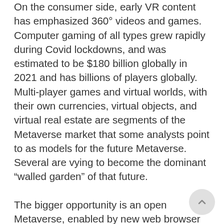On the consumer side, early VR content has emphasized 360° videos and games. Computer gaming of all types grew rapidly during Covid lockdowns, and was estimated to be $180 billion globally in 2021 and has billions of players globally. Multi-player games and virtual worlds, with their own currencies, virtual objects, and virtual real estate are segments of the Metaverse market that some analysts point to as models for the future Metaverse. Several are vying to become the dominant “walled garden” of that future.
The bigger opportunity is an open Metaverse, enabled by new web browser standards to provide a runtime infrastructure for next generation applications. HTML was never